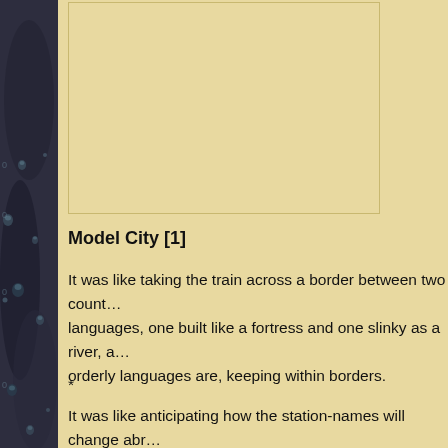[Figure (photo): A blank/faded image box with light beige background and thin border, occupying the upper portion of the page]
Model City [1]
It was like taking the train across a border between two countries speaking different languages, one built like a fortress and one slinky as a river, and noticing how orderly languages are, keeping within borders.
*
It was like anticipating how the station-names will change abruptly from words solid as fortresses to words slinky as rivers right after the border, a